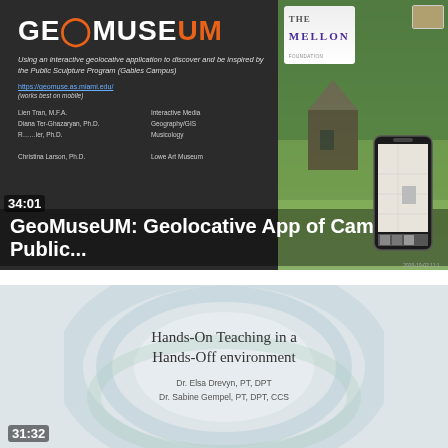[Figure (screenshot): Video thumbnail showing GeoMuseUM app presentation with dark background, logo, subtitle text about geolocative application for Public Sculpture Program, link, presenter names, and a nature/phone image on the right. Overlay shows timestamp 34:01 and title 'GeoMuseUM: Geolocative App of Campus Public...']
[Figure (screenshot): Video thumbnail showing presentation slide with circular ring design on light gray background. Title reads 'Hands-On Teaching in a Hands-Off environment', authors Dr. Elsa Drevyn PT DPT and Dr. Sabine Gempel PT DPT CCS. Timestamp 31:32 in bottom left.]